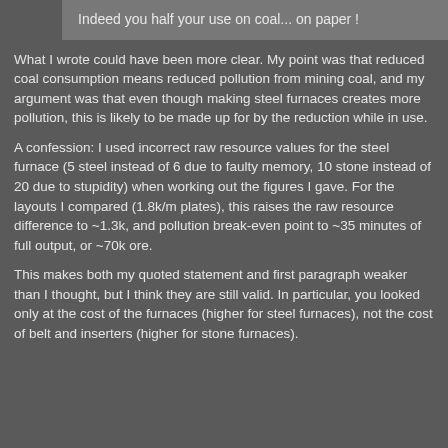Indeed you half your use on coal... on paper !
What I wrote could have been more clear. My point was that reduced coal consumption means reduced pollution from mining coal, and my argument was that even though making steel furnaces creates more pollution, this is likely to be made up for by the reduction while in use.
A confession: I used incorrect raw resource values for the steel furnace (5 steel instead of 6 due to faulty memory, 10 stone instead of 20 due to stupidity) when working out the figures I gave. For the layouts I compared (1.8k/m plates), this raises the raw resource difference to ~1.3k, and pollution break-even point to ~35 minutes of full output, or ~70k ore.
This makes both my quoted statement and first paragraph weaker than I thought, but I think they are still valid. In particular, you looked only at the cost of the furnaces (higher for steel furnaces), not the cost of belt and inserters (higher for stone furnaces).